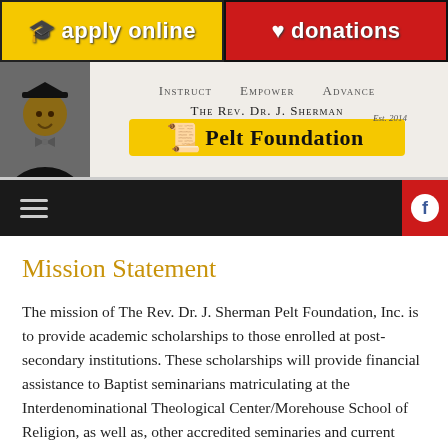[Figure (screenshot): Website banner with two buttons: 'apply online' (yellow with graduation cap icon) and 'donations' (red/black with heart icon)]
[Figure (logo): The Rev. Dr. J. Sherman Pelt Foundation logo with photo of a man in graduation regalia, mottos: Instruct, Empower, Advance, Est. 2014]
[Figure (screenshot): Dark navigation bar with hamburger menu icon and red Facebook button]
Mission Statement
The mission of The Rev. Dr. J. Sherman Pelt Foundation, Inc. is to provide academic scholarships to those enrolled at post-secondary institutions. These scholarships will provide financial assistance to Baptist seminarians matriculating at the Interdenominational Theological Center/Morehouse School of Religion, as well as, other accredited seminaries and current members of the Liberty Baptist Church-Atlanta, Inc. who meet the conditions established by the foundation